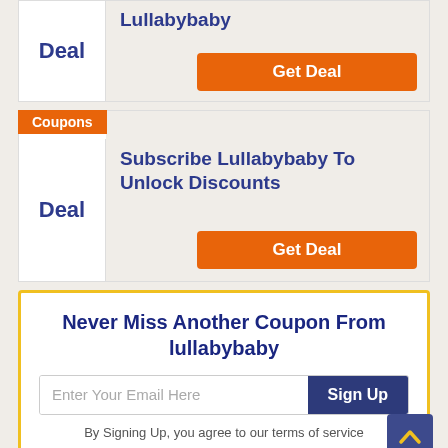Deal
Lullabybaby
Get Deal
Coupons
Deal
Subscribe Lullabybaby To Unlock Discounts
Get Deal
Never Miss Another Coupon From lullabybaby
Enter Your Email Here
Sign Up
By Signing Up, you agree to our terms of service